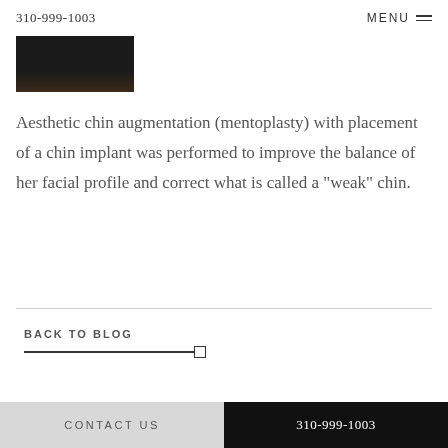310-999-1003   MENU
[Figure (photo): Partial view of a patient photo, dark background, bottom portion of image visible]
Aesthetic chin augmentation (mentoplasty) with placement of a chin implant was performed to improve the balance of her facial profile and correct what is called a "weak" chin.
BACK TO BLOG
CONTACT US   310-999-1003